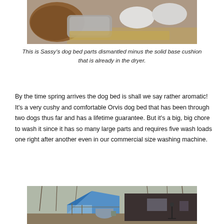[Figure (photo): Dog bed parts dismantled and laid out on a wooden floor, including gray and white cushion covers and pillows]
This is Sassy's dog bed parts dismantled minus the solid base cushion that is already in the dryer.
By the time spring arrives the dog bed is shall we say rather aromatic! It's a very cushy and comfortable Orvis dog bed that has been through two dogs thus far and has a lifetime guarantee. But it's a big, big chore to wash it since it has so many large parts and requires five wash loads one right after another even in our commercial size washing machine.
[Figure (photo): Outdoor scene showing a blue tarp structure or temporary greenhouse next to a dark building, surrounded by bare winter trees]